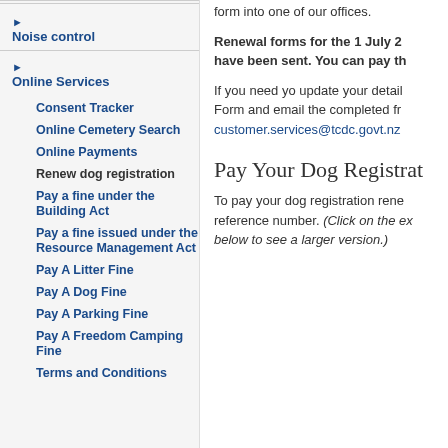▶ Noise control
▶ Online Services
Consent Tracker
Online Cemetery Search
Online Payments
Renew dog registration
Pay a fine under the Building Act
Pay a fine issued under the Resource Management Act
Pay A Litter Fine
Pay A Dog Fine
Pay A Parking Fine
Pay A Freedom Camping Fine
Terms and Conditions
form into one of our offices.
Renewal forms for the 1 July 2 have been sent. You can pay th
If you need yo update your detail Form and email the completed fr customer.services@tcdc.govt.nz
Pay Your Dog Registrat
To pay your dog registration rene reference number. (Click on the ex below to see a larger version.)